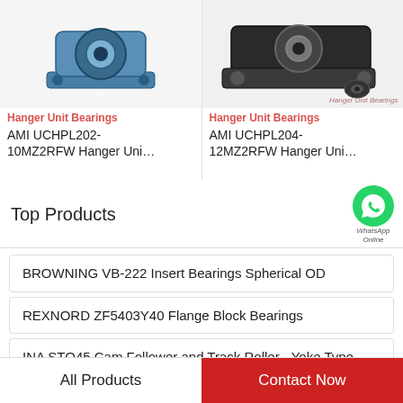[Figure (photo): AMI UCHPL202-10MZ2RFW hanger unit bearing - blue pillow block with two bolt holes]
Hanger Unit Bearings
AMI UCHPL202-10MZ2RFW Hanger Uni…
[Figure (photo): AMI UCHPL204-12MZ2RFW hanger unit bearing - black bearing with Hanger Unit Bearings watermark]
Hanger Unit Bearings
AMI UCHPL204-12MZ2RFW Hanger Uni…
Top Products
[Figure (logo): WhatsApp Online green circle icon with phone handset]
BROWNING VB-222 Insert Bearings Spherical OD
REXNORD ZF5403Y40 Flange Block Bearings
INA STO45 Cam Follower and Track Roller - Yoke Type
All Products
Contact Now